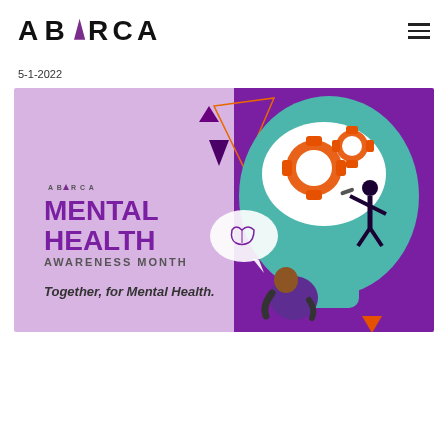ABARCA
5-1-2022
[Figure (illustration): Abarca Mental Health Awareness Month banner: lavender and purple background with teal silhouette of a head containing orange gears, a person figure working on the gears, a speech bubble with a brain, and a seated figure below. Text reads: ABARCA MENTAL HEALTH AWARENESS MONTH Together, for Mental Health.]